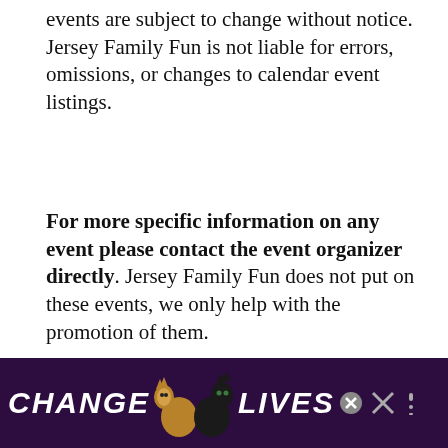events are subject to change without notice. Jersey Family Fun is not liable for errors, omissions, or changes to calendar event listings.
For more specific information on any event please contact the event organizer directly. Jersey Family Fun does not put on these events, we only help with the promotion of them.
[Figure (illustration): Teal circular heart icon button and a share icon below it]
Do you want families to know about your events in NJ? For information on having your event listed and advertised on the Jersey Family Fun Calendar of New Jersey Events, please visit
[Figure (illustration): Advertisement banner with dark purple background showing two cats and the text CHANGE LIVES with a close button]